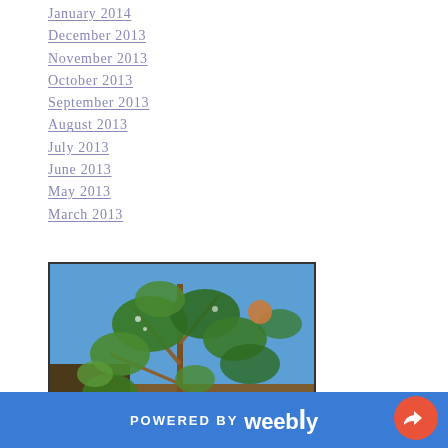January 2014
December 2013
November 2013
October 2013
September 2013
August 2013
July 2013
June 2013
May 2013
March 2013
[Figure (photo): Outdoor photo of a moringa tree with green leaves and branches against a blue sky background. Text watermark reads 'Growing Moringa Tree'.]
POWERED BY weebly